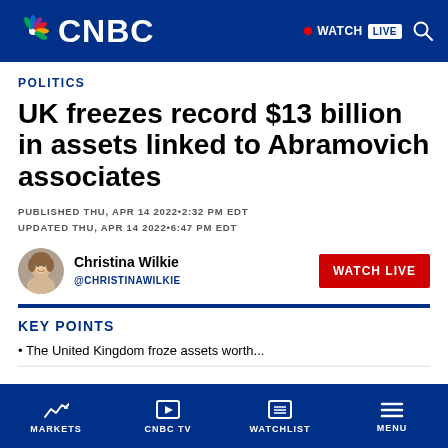CNBC — WATCH LIVE
POLITICS
UK freezes record $13 billion in assets linked to Abramovich associates
PUBLISHED THU, APR 14 2022•2:32 PM EDT
UPDATED THU, APR 14 2022•6:47 PM EDT
Christina Wilkie
@CHRISTINAWILKIE
KEY POINTS
• The United Kingdom froze assets worth...
MARKETS   CNBC TV   WATCHLIST   MENU